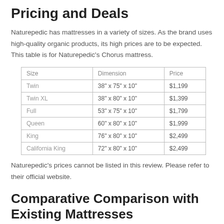Pricing and Deals
Naturepedic has mattresses in a variety of sizes. As the brand uses high-quality organic products, its high prices are to be expected. This table is for Naturepedic's Chorus mattress.
| Size | Dimension | Price |
| --- | --- | --- |
| Twin | 38" x 75" x 10" | $1,199 |
| Twin XL | 38" x 80" x 10" | $1,399 |
| Full | 53" x 75" x 10" | $1,799 |
| Queen | 60" x 80" x 10" | $1,999 |
| King | 76" x 80" x 10" | $2,499 |
| California King | 72" x 80" x 10" | $2,499 |
Naturepedic's prices cannot be listed in this review. Please refer to their official website.
Comparative Comparison with Existing Mattresses